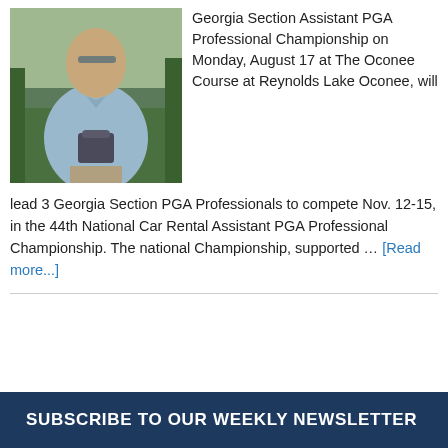[Figure (photo): Man in light blue polo shirt holding a trophy/award, standing outdoors on a golf course with green grass in background]
Georgia Section Assistant PGA Professional Championship on Monday, August 17 at The Oconee Course at Reynolds Lake Oconee, will lead 3 Georgia Section PGA Professionals to compete Nov. 12-15, in the 44th National Car Rental Assistant PGA Professional Championship. The national Championship, supported … [Read more...]
SUBSCRIBE TO OUR WEEKLY NEWSLETTER